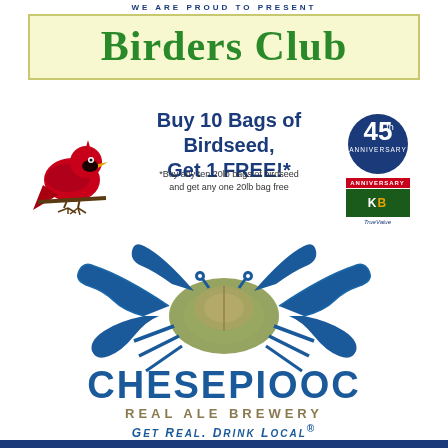WE ARE PROUD TO PRESENT
Birders Club
Buy 10 Bags of Birdseed, Get 1 FREE!*
*Buy any ten 20lb bags of birdseed and get any one 20lb bag free
[Figure (logo): Red cardinal bird illustration on branch]
[Figure (logo): 45th Anniversary badge with KB True Value logo]
[Figure (logo): Chesepiooc Real Ale Brewery logo with blue crab illustration and text GET REAL. DRINK LOCAL]